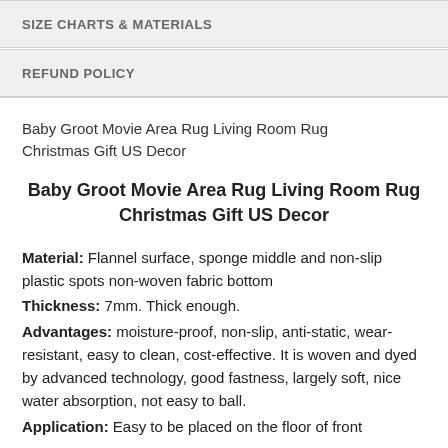SIZE CHARTS & MATERIALS
REFUND POLICY
Baby Groot Movie Area Rug Living Room Rug Christmas Gift US Decor
Baby Groot Movie Area Rug Living Room Rug Christmas Gift US Decor
Material: Flannel surface, sponge middle and non-slip plastic spots non-woven fabric bottom
Thickness: 7mm. Thick enough.
Advantages: moisture-proof, non-slip, anti-static, wear-resistant, easy to clean, cost-effective. It is woven and dyed by advanced technology, good fastness, largely soft, nice water absorption, not easy to ball.
Application: Easy to be placed on the floor of front